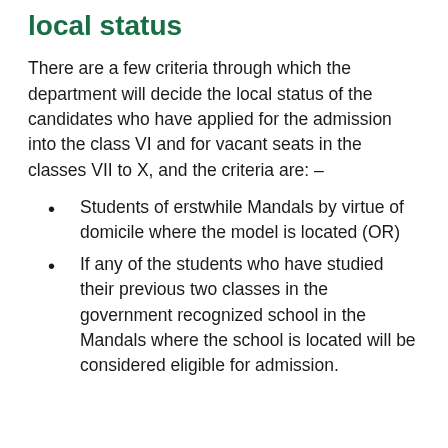local status
There are a few criteria through which the department will decide the local status of the candidates who have applied for the admission into the class VI and for vacant seats in the classes VII to X, and the criteria are: –
Students of erstwhile Mandals by virtue of domicile where the model is located (OR)
If any of the students who have studied their previous two classes in the government recognized school in the Mandals where the school is located will be considered eligible for admission.